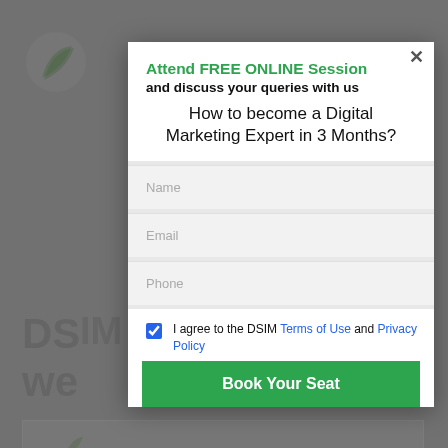[Figure (screenshot): DSIM website background with logo, heading text about startup of the week and Flexiguru, partially visible behind modal overlay]
Attend FREE ONLINE Session and discuss your queries with us
How to become a Digital Marketing Expert in 3 Months?
Name
Email
Phone
I agree to the DSIM Terms of Use and Privacy Policy
Book Your Seat